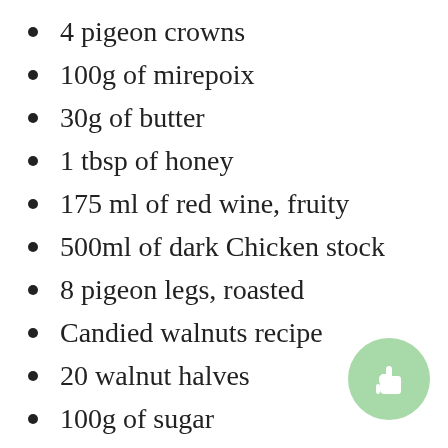4 pigeon crowns
100g of mirepoix
30g of butter
1 tbsp of honey
175 ml of red wine, fruity
500ml of dark Chicken stock
8 pigeon legs, roasted
Candied walnuts recipe
20 walnut halves
100g of sugar
100ml of water
[Figure (illustration): Green circular button with a thumbs up / hand pointer icon]